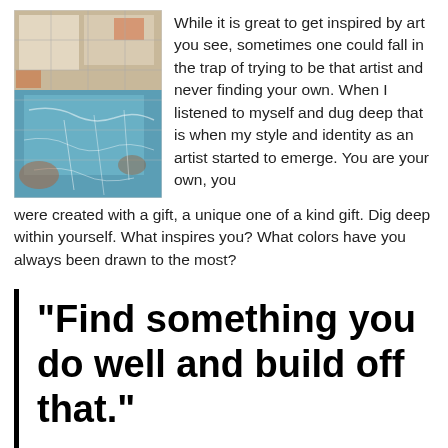[Figure (illustration): Abstract painting with blue, teal, orange, and beige tones arranged in a grid-like pattern with textured brushwork]
While it is great to get inspired by art you see, sometimes one could fall in the trap of trying to be that artist and never finding your own. When I listened to myself and dug deep that is when my style and identity as an artist started to emerge. You are your own, you were created with a gift, a unique one of a kind gift. Dig deep within yourself. What inspires you? What colors have you always been drawn to the most?
"Find something you do well and build off that."